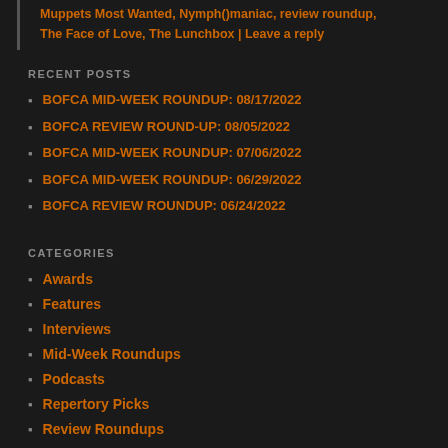Muppets Most Wanted, Nymph()maniac, review roundup, The Face of Love, The Lunchbox | Leave a reply
RECENT POSTS
BOFCA MID-WEEK ROUNDUP: 08/17/2022
BOFCA REVIEW ROUND-UP: 08/05/2022
BOFCA MID-WEEK ROUNDUP: 07/06/2022
BOFCA MID-WEEK ROUNDUP: 06/29/2022
BOFCA REVIEW ROUNDUP: 06/24/2022
CATEGORIES
Awards
Features
Interviews
Mid-Week Roundups
Podcasts
Repertory Picks
Review Roundups
Uncategorized
Videos